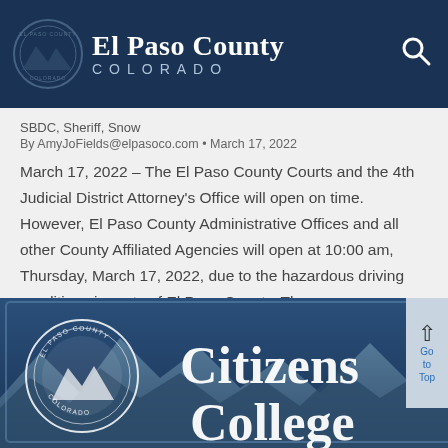El Paso County COLORADO
SBDC, Sheriff, Snow
By AmyJoFields@elpasoco.com • March 17, 2022
March 17, 2022 – The El Paso County Courts and the 4th Judicial District Attorney’s Office will open on time. However, El Paso County Administrative Offices and all other County Affiliated Agencies will open at 10:00 am, Thursday, March 17, 2022, due to the hazardous driving conditions in parts of El Paso County. The...
[Figure (illustration): Citizens College banner with El Paso County seal on blue mountain background]